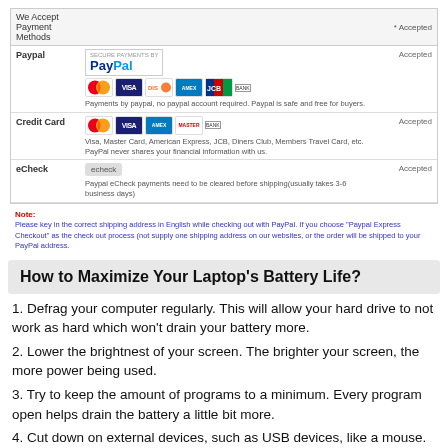| We Accept Payment Methods | * Accepted |
| --- | --- |
| Paypal | [PayPal logos] | Accepted |
| Credit Card | [Card logos] | Accepted |
| eCheck | [eCheck logo] | Accepted |
Note: Please key in the correct shipping address in English while checking out with PayPal. If you choose "Paypal Express Checkout" as the check out process (not supply one shipping address on our websites, or the order will be shipped to your PayPal address.
How to Maximize Your Laptop's Battery Life?
1. Defrag your computer regularly. This will allow your hard drive to not work as hard which won't drain your battery more.
2. Lower the brightnest of your screen. The brighter your screen, the more power being used.
3. Try to keep the amount of programs to a minimum. Every program open helps drain the battery a little bit more.
4. Cut down on external devices, such as USB devices, like a mouse. Also WiFi will drain your battery so turn it off when you aren't using it to save power.